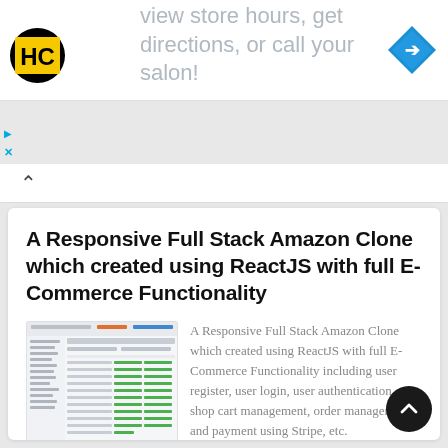view store hours, get directions, or call your salon!
[Figure (logo): HC logo — black circle with HC letters in yellow square]
[Figure (other): Blue diamond navigation arrow icon]
A Responsive Full Stack Amazon Clone which created using ReactJS with full E-Commerce Functionality
[Figure (screenshot): Screenshot of Amazon clone application showing product listings with green price indicators]
A Responsive Full Stack Amazon Clone which created using ReactJS with full E-Commerce Functionality including user register, user login, user authentication, shop cart management, order management, and payment using Stripe, etc.
Apr 9, 2022